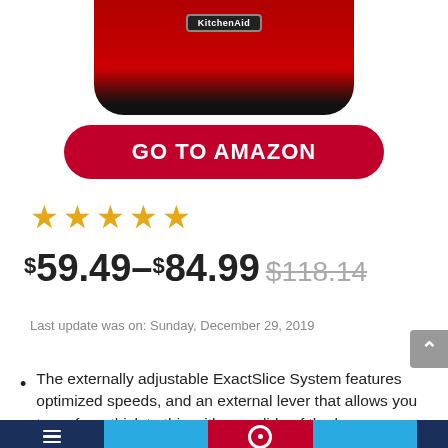[Figure (photo): KitchenAid product image — top portion of a red KitchenAid appliance with brand logo on black base, cropped at top of page]
GO TO AMAZON
★★★★★
$59.49–$84.99 $118.14
Last update was on: Sunday, December 29, 2019
The externally adjustable ExactSlice System features optimized speeds, and an external lever that allows you to go from thick to thin with one slide of the lever.